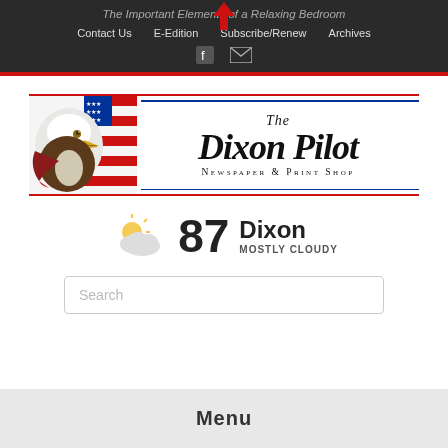The Important Elements of a Relaxing Bedroom
Contact Us | E-Edition | Subscribe/Renew | Archives
[Figure (logo): The Dixon Pilot Newspaper & Print Shop logo with bald eagle and American flag]
87  Dixon  MOSTLY CLOUDY
Search
Menu